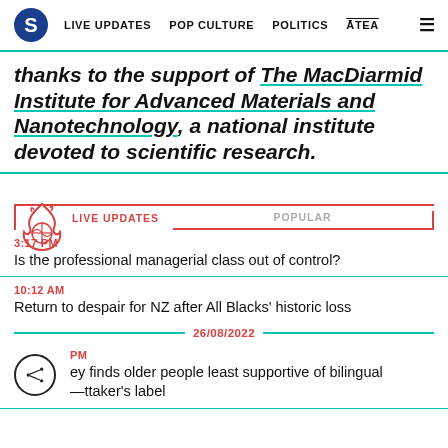S  LIVE UPDATES  POP CULTURE  POLITICS  ĀTEA  ☰
thanks to the support of The MacDiarmid Institute for Advanced Materials and Nanotechnology, a national institute devoted to scientific research.
LIVE UPDATES   POPULAR
3:17 PM
Is the professional managerial class out of control?
10:12 AM
Return to despair for NZ after All Blacks' historic loss
26/08/2022
PM
ey finds older people least supportive of bilingual
Whittaker's label